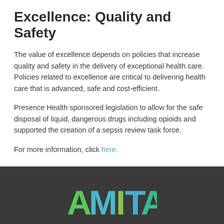Excellence: Quality and Safety
The value of excellence depends on policies that increase quality and safety in the delivery of exceptional health care. Policies related to excellence are critical to delivering health care that is advanced, safe and cost-efficient.
Presence Health sponsored legislation to allow for the safe disposal of liquid, dangerous drugs including opioids and supported the creation of a sepsis review task force.
For more information, click here.
[Figure (logo): AMITA Health logo in colorful letters on dark gray footer bar]